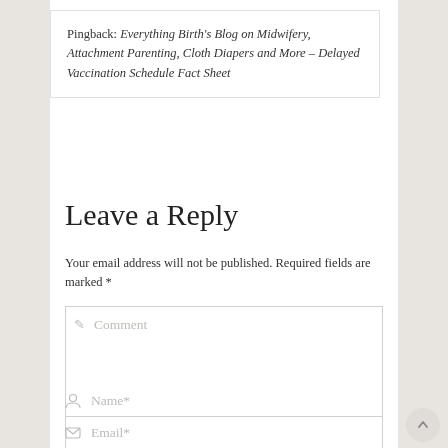Pingback: Everything Birth's Blog on Midwifery, Attachment Parenting, Cloth Diapers and More – Delayed Vaccination Schedule Fact Sheet
Leave a Reply
Your email address will not be published. Required fields are marked *
Comment
Name*
Email*